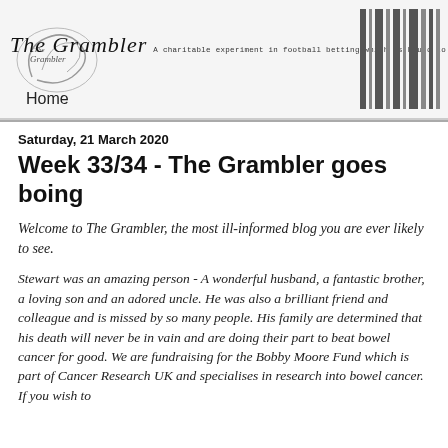The Grambler — A charitable experiment in football betting which is bound to go horribly wrong.
Home
Saturday, 21 March 2020
Week 33/34 - The Grambler goes boing
Welcome to The Grambler, the most ill-informed blog you are ever likely to see.
Stewart was an amazing person - A wonderful husband, a fantastic brother, a loving son and an adored uncle. He was also a brilliant friend and colleague and is missed by so many people. His family are determined that his death will never be in vain and are doing their part to beat bowel cancer for good. We are fundraising for the Bobby Moore Fund which is part of Cancer Research UK and specialises in research into bowel cancer. If you wish to